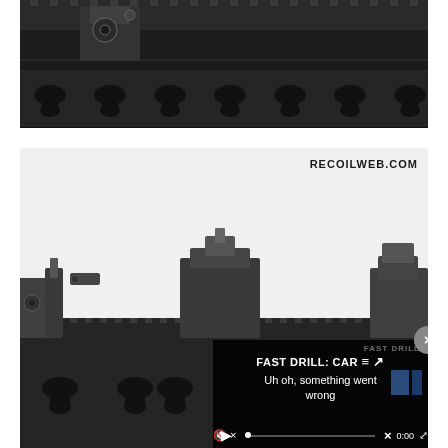[Figure (photo): Close-up photo of a firearm rail system showing keymod handguard with front sight post, black aluminum construction with elongated slots]
[Figure (photo): Close-up photo of a firearm rail with flip-up sights mounted, white background, with RECOILWEB.COM watermark and a video player overlay showing 'FAST DRILL: CAR' title and 'Uh oh, something went wrong' error message with playback controls]